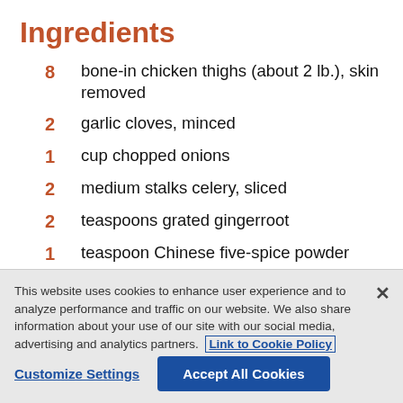Ingredients
8  bone-in chicken thighs (about 2 lb.), skin removed
2  garlic cloves, minced
1  cup chopped onions
2  medium stalks celery, sliced
2  teaspoons grated gingerroot
1  teaspoon Chinese five-spice powder
This website uses cookies to enhance user experience and to analyze performance and traffic on our website. We also share information about your use of our site with our social media, advertising and analytics partners. Link to Cookie Policy
Customize Settings   Accept All Cookies